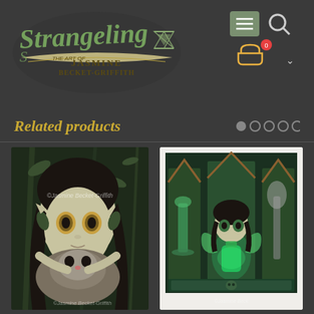[Figure (logo): Strangeling - The Art of Jasmine Becket-Griffith logo with hourglass and decorative text]
[Figure (screenshot): Navigation icons: hamburger menu button (green), search icon, shopping cart with 0 badge, and dropdown arrow]
Related products
[Figure (photo): Fantasy art painting of a dark-haired fairy girl holding a ferret, with watermark copyright Jasmine Becket-Griffith]
[Figure (photo): Fantasy art painting of a dark-haired fairy girl in gothic green arch triptych setting with glowing green potion, copyright Jasmine Becket-Griffith]